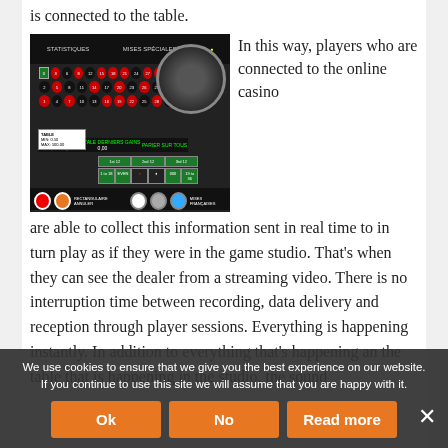is connected to the table.
[Figure (screenshot): Screenshot of an online roulette casino game interface showing the roulette table layout with numbered grid, roulette wheel, balance display, and betting options.]
In this way, players who are connected to the online casino are able to collect this information sent in real time to in turn play as if they were in the game studio. That's when they can see the dealer from a streaming video. There is no interruption time between recording, data delivery and reception through player sessions. Everything is happening instantly. In addition to everything that's happening an the table that is happening in the studio, the sound
We use cookies to ensure that we give you the best experience on our website. If you continue to use this site we will assume that you are happy with it.
Ok
No
Read more